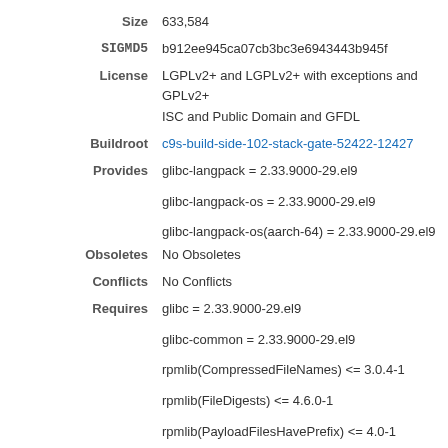Size: 633,584
SIGMD5: b912ee945ca07cb3bc3e6943443b945f
License: LGPLv2+ and LGPLv2+ with exceptions and GPLv2+ ISC and Public Domain and GFDL
Buildroot: c9s-build-side-102-stack-gate-52422-12427
Provides: glibc-langpack = 2.33.9000-29.el9
glibc-langpack-os = 2.33.9000-29.el9
glibc-langpack-os(aarch-64) = 2.33.9000-29.el9
Obsoletes: No Obsoletes
Conflicts: No Conflicts
Requires: glibc = 2.33.9000-29.el9
glibc-common = 2.33.9000-29.el9
rpmlib(CompressedFileNames) <= 3.0.4-1
rpmlib(FileDigests) <= 4.6.0-1
rpmlib(PayloadFilesHavePrefix) <= 4.0-1
rpmlib(PayloadIsZstd) <= 5.4.18-1
rpmlib(RichDependencies) <= 4.12.0-1